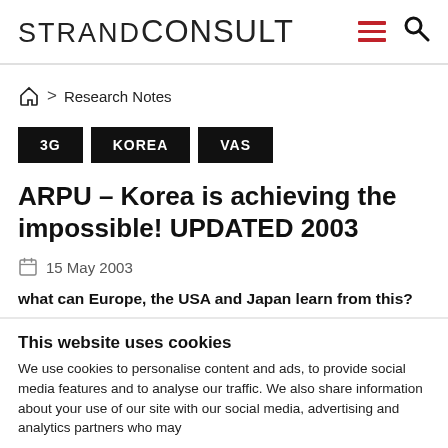STRAND CONSULT
Home > Research Notes
3G
KOREA
VAS
ARPU – Korea is achieving the impossible! UPDATED 2003
15 May 2003
what can Europe, the USA and Japan learn from this?
This website uses cookies
We use cookies to personalise content and ads, to provide social media features and to analyse our traffic. We also share information about your use of our site with our social media, advertising and analytics partners who may